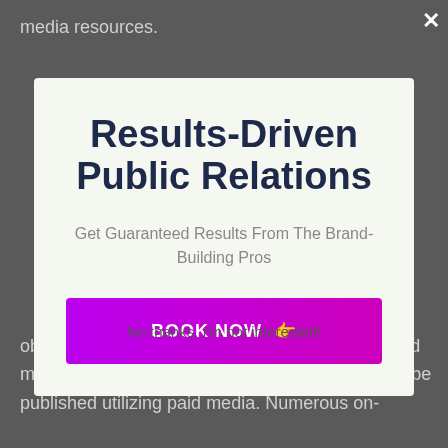media resources.
[Figure (screenshot): Modal popup overlay on a dark background webpage. The modal has a light greenish-white background containing a large bold title 'Results-Driven Public Relations', subtitle 'Get Guaranteed Results From The Brand-Building Pros', and a magenta/purple 'BOOK NOW 👉' button. A white × close button appears top-right. Background text reads 'media resources.' at top and 'obtaining your tale grabbed naturally using earned media, there are also possibilities for your tale to be published utilizing paid media. Numerous on-' at bottom.]
obtaining your tale grabbed naturally using earned media, there are also possibilities for your tale to be published utilizing paid media. Numerous on-
No thanks, I'm not interested!